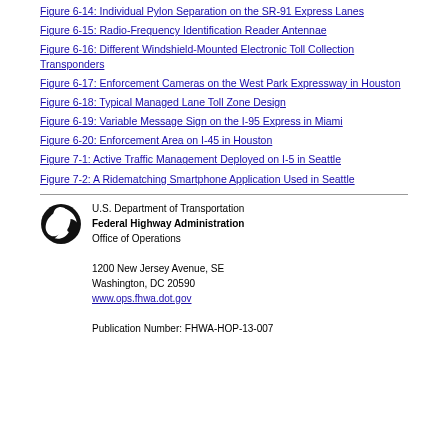Figure 6-14: Individual Pylon Separation on the SR-91 Express Lanes
Figure 6-15: Radio-Frequency Identification Reader Antennae
Figure 6-16: Different Windshield-Mounted Electronic Toll Collection Transponders
Figure 6-17: Enforcement Cameras on the West Park Expressway in Houston
Figure 6-18: Typical Managed Lane Toll Zone Design
Figure 6-19: Variable Message Sign on the I-95 Express in Miami
Figure 6-20: Enforcement Area on I-45 in Houston
Figure 7-1: Active Traffic Management Deployed on I-5 in Seattle
Figure 7-2: A Ridematching Smartphone Application Used in Seattle
[Figure (logo): USDOT circular logo with swirl design]
U.S. Department of Transportation
Federal Highway Administration
Office of Operations

1200 New Jersey Avenue, SE
Washington, DC 20590
www.ops.fhwa.dot.gov

Publication Number: FHWA-HOP-13-007